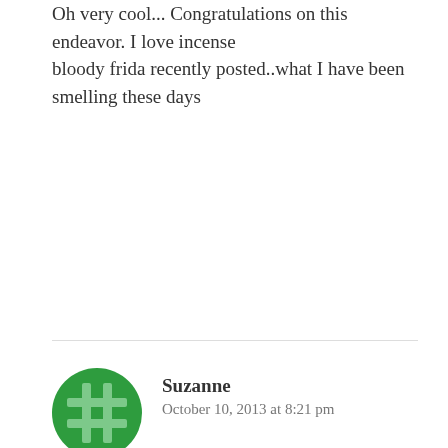Oh very cool... Congratulations on this endeavor. I love incense
blody frida recently posted..what I have been smelling these days
[Figure (illustration): Green circular avatar with a cross/hashtag symbol in lighter green]
Suzanne
October 10, 2013 at 8:21 pm
Victoria, this is *very* cool. Congratulations!!
As Lavanya said, please don't feel awkward about talking about this on your blog. This is both exciting and inspiring: a great idea, and you have some really nice stuff (including incense made by you... you can count on the fact that I'm going to